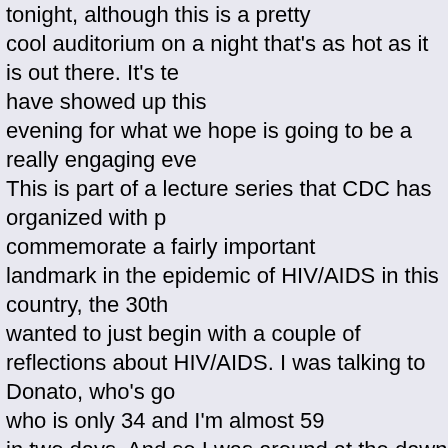tonight, although this is a pretty cool auditorium on a night that's as hot as it is out there. It's te have showed up this evening for what we hope is going to be a really engaging eve This is part of a lecture series that CDC has organized with p commemorate a fairly important landmark in the epidemic of HIV/AIDS in this country, the 30th wanted to just begin with a couple of reflections about HIV/AIDS. I was talking to Donato, who's go who is only 34 and I'm almost 59 in two days. And so I was around at the dawn of time of the H 30-year business and pretty sobering. You know, it's both a somber time. We have an epidemic that We have over 600,000 people that have died in this country in the last 30 years. We have ov that are infected and living with HIV/AIDS. We have over 50,000 people a year are gettin of the epidemic are still very much with us and of course this is a global situation. When yo figures, it's staggers. Over 60 million people having been infected at some point during the